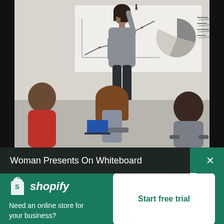[Figure (photo): A woman in a grey blazer presents charts on a whiteboard to three seated attendees in an office/classroom setting. The whiteboard shows a line graph and a pie chart. Attendees visible from behind include a man in red shirt, a woman with brown hair, and a man in grey suit.]
Woman Presents On Whiteboard
[Figure (logo): Shopify logo — shopping bag icon with 'S' and italic text 'shopify' in white on green background]
Need an online store for your business?
Start free trial